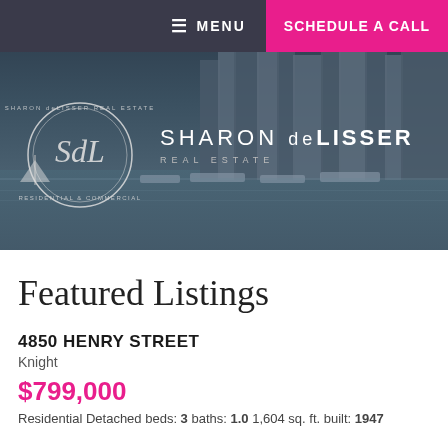≡ MENU  SCHEDULE A CALL
[Figure (screenshot): Sharon deLisser Real Estate website hero banner with city skyline background, circular logo on left, and brand name 'SHARON deLISSER REAL ESTATE' on right]
Featured Listings
4850 HENRY STREET
Knight
$799,000
Residential Detached beds: 3 baths: 1.0 1,604 sq. ft. built: 1947